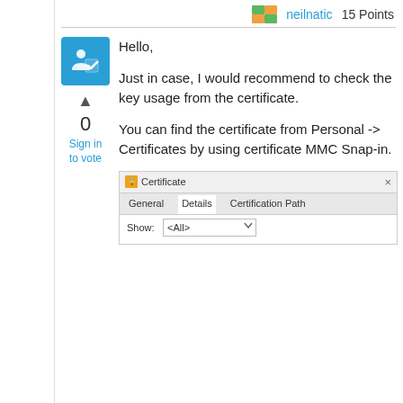neilnatic   15 Points
[Figure (screenshot): Blue answer icon with checkbox and person silhouette]
0
Sign in to vote
Hello,

Just in case, I would recommend to check the key usage from the certificate.

You can find the certificate from Personal -> Certificates by using certificate MMC Snap-in.
[Figure (screenshot): Certificate dialog box showing General, Details, Certification Path tabs with Show: <All> dropdown]